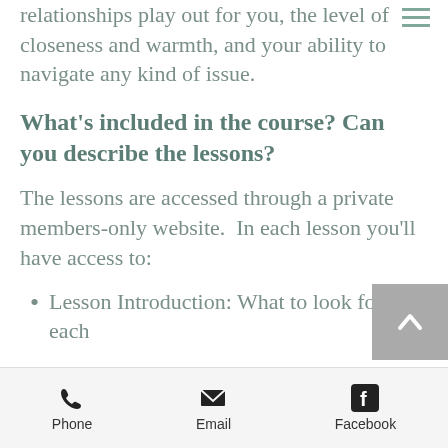relationships play out for you, the level of closeness and warmth, and your ability to navigate any kind of issue.
What's included in the course? Can you describe the lessons?
The lessons are accessed through a private members-only website.  In each lesson you'll have access to:
Lesson Introduction: What to look for in each
Phone  Email  Facebook